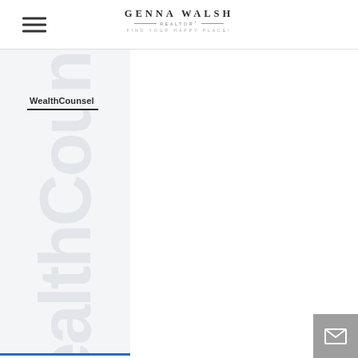GENNA WALSH — REALTOR — FIND YOUR HAPPY PLACE!
[Figure (logo): Genna Walsh Realtor logo with text GENNA WALSH, REALTOR, FIND YOUR HAPPY PLACE! centered in the header]
WealthCounsel
[Figure (illustration): Large watermark/background text reading 'WealthCounsel' displayed vertically in light gray on a light gray panel on the left side of the page]